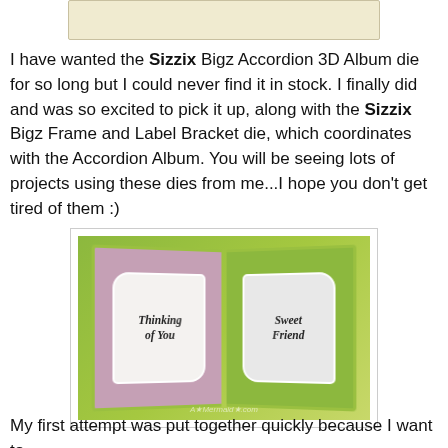[Figure (photo): Partial view of a craft/scrapbook image at the top of the page, mostly cropped]
I have wanted the Sizzix Bigz Accordion 3D Album die for so long but I could never find it in stock. I finally did and was so excited to pick it up, along with the Sizzix Bigz Frame and Label Bracket die, which coordinates with the Accordion Album. You will be seeing lots of projects using these dies from me...I hope you don't get tired of them :)
[Figure (photo): Photo of a handmade Sizzix Accordion 3D Album open to show two pages. Left page has floral pink/purple patterned paper with a white label bracket shape reading 'Thinking of You'. Right page has green floral patterned paper with a white label bracket reading 'Sweet Friend'. The album is displayed on a green background.]
My first attempt was put together quickly because I want to